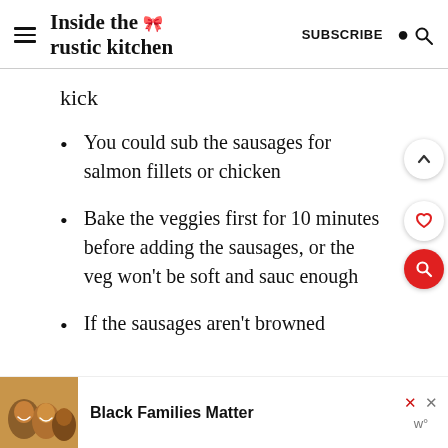Inside the rustic kitchen — SUBSCRIBE
kick
You could sub the sausages for salmon fillets or chicken
Bake the veggies first for 10 minutes before adding the sausages, or the veg won't be soft and sauc enough
If the sausages aren't browned
[Figure (other): Ad banner with photo of smiling family and text 'Black Families Matter']